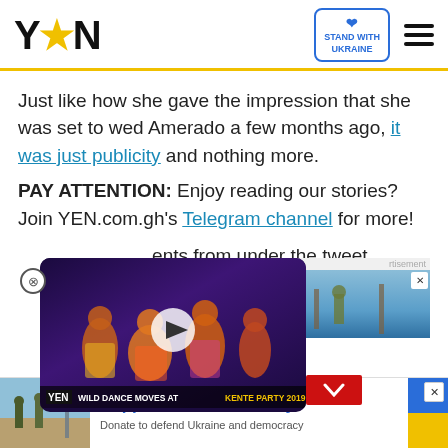YEN | STAND WITH UKRAINE
Just like how she gave the impression that she was set to wed Amerado a few months ago, it was just publicity and nothing more.
PAY ATTENTION: Enjoy reading our stories? Join YEN.com.gh's Telegram channel for more!
...ents from under the tweet
[Figure (screenshot): Video thumbnail showing people dancing at WILD DANCE MOVES AT KENTE PARTY 2019 with YEN logo]
[Figure (screenshot): Advertisement: Support Ukrainian Army - Donate to defend Ukraine and democracy]